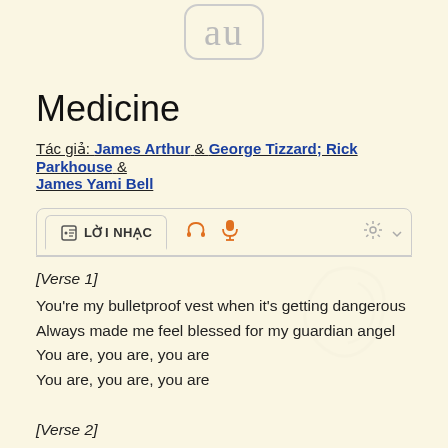[Figure (logo): App logo showing stylized 'au' letters in a rounded rectangle box]
Medicine
Tác giả: James Arthur & George Tizzard; Rick Parkhouse & James Yami Bell
[Figure (screenshot): Tab bar with 'LỜI NHẠC' active tab, headphone icon, microphone icon, and gear/settings icon]
[Verse 1]
You're my bulletproof vest when it's getting dangerous
Always made me feel blessed for my guardian angel
You are, you are, you are
You are, you are, you are
[Verse 2]
You put your body on mine when you're taking
You're the pin in my heart, it's so heavenly